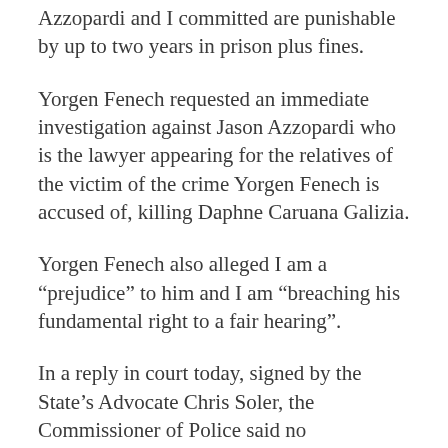Azzopardi and I committed are punishable by up to two years in prison plus fines.
Yorgen Fenech requested an immediate investigation against Jason Azzopardi who is the lawyer appearing for the relatives of the victim of the crime Yorgen Fenech is accused of, killing Daphne Caruana Galizia.
Yorgen Fenech also alleged I am a “prejudice” to him and I am “breaching his fundamental right to a fair hearing”.
In a reply in court today, signed by the State’s Advocate Chris Soler, the Commissioner of Police said no fundamental right of Yorgen Fenech has been breached. And the actions by Jason Azzopardi and Manuel Delia did not amount to intimidation of the